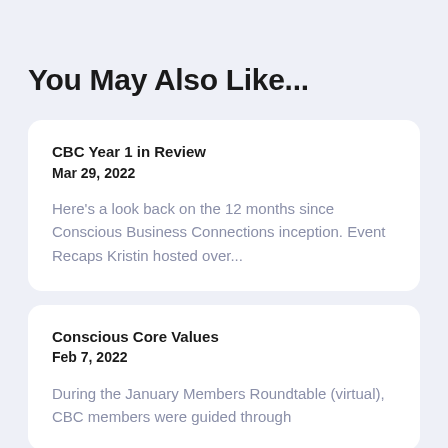You May Also Like...
CBC Year 1 in Review
Mar 29, 2022

Here's a look back on the 12 months since Conscious Business Connections inception. Event Recaps Kristin hosted over...
Conscious Core Values
Feb 7, 2022

During the January Members Roundtable (virtual), CBC members were guided through